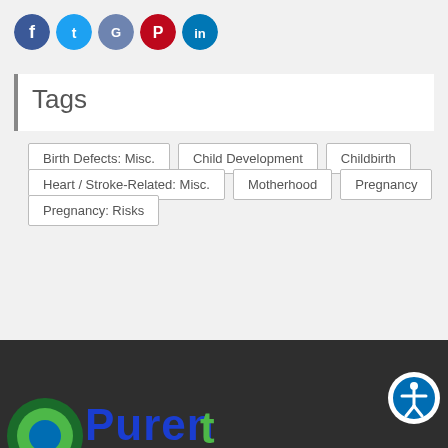[Figure (other): Social media sharing icons: Facebook (blue), Twitter (light blue), Google (blue/grey), Pinterest (red), LinkedIn (blue)]
Tags
Birth Defects: Misc.
Child Development
Childbirth
Heart / Stroke-Related: Misc.
Motherhood
Pregnancy
Pregnancy: Risks
[Figure (logo): Parents magazine logo partially visible at bottom of dark footer, with accessibility icon button on right]